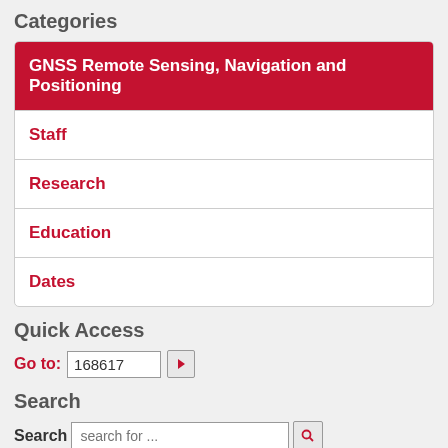Categories
GNSS Remote Sensing, Navigation and Positioning
Staff
Research
Education
Dates
Quick Access
Go to: 168617
Search
Search  search for ...